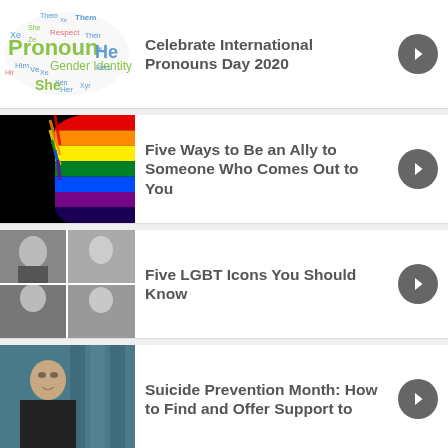[Figure (illustration): Word cloud with pronoun-related words: Pronoun, She, He, Them, Gender Identity, Respect, Her, Hers, Ze, Xe, Ve, Their, etc. in green and blue colors forming a cloud shape.]
Celebrate International Pronouns Day 2020
[Figure (photo): Black silhouette of a head profile against a rainbow pride flag with colorful light streaks.]
Five Ways to Be an Ally to Someone Who Comes Out to You
[Figure (photo): Black and white photo collage of five diverse people, appearing to be LGBT icons.]
Five LGBT Icons You Should Know
[Figure (photo): Portrait of a young person in dark clothing against a blurred architectural background with teal/blue columns.]
Suicide Prevention Month: How to Find and Offer Support to
[Figure (photo): Partial view of a colorful image at the bottom of the page (cut off).]